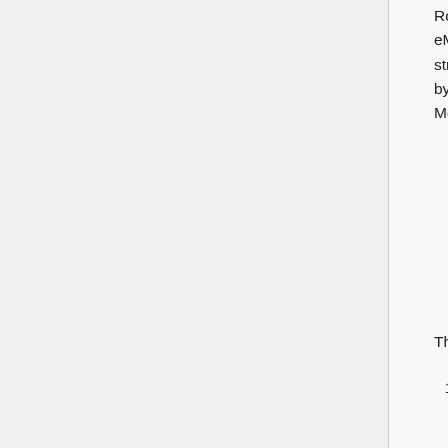Rory McGreal updated the meeting on the progress of the eMundus project. eMundus is an initiative supported by the European Commission which aims to strengthen cooperation and awareness among Higher Education Institutions worldwide by exploring the potential of Open Approaches including OER, MOOCs and Virtual Mobility.
The project has:
Completed a number of fact-finding country reports on the state of OER
Developed an online atlas for mapping open education practices around the globe including MOOCs and the impact of virtual mobility on the internationalisation of Higher Education.